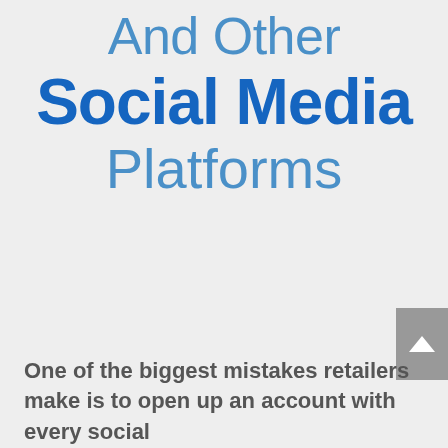And Other Social Media Platforms
One of the biggest mistakes retailers make is to open up an account with every social